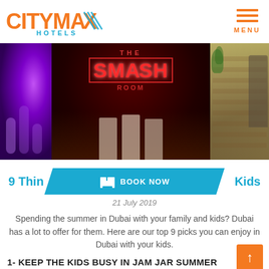[Figure (logo): CityMax Hotels logo with orange CITYMAX text with diagonal stripe pattern on X, and blue HOTELS text below]
[Figure (screenshot): Menu icon with three orange horizontal lines and MENU text in orange]
[Figure (photo): Three panel photo strip: left panel showing purple neon lit interior, center panel showing The Smash Room neon sign with people in protective gear, right panel showing a person near a brick wall with greenery]
9 Things to Do in Dubai with Kids
[Figure (screenshot): Blue parallelogram shaped BOOK NOW button with bed icon]
21 July 2019
Spending the summer in Dubai with your family and kids? Dubai has a lot to offer for them. Here are our top 9 picks you can enjoy in Dubai with your kids.
1- KEEP THE KIDS BUSY IN JAM JAR SUMMER